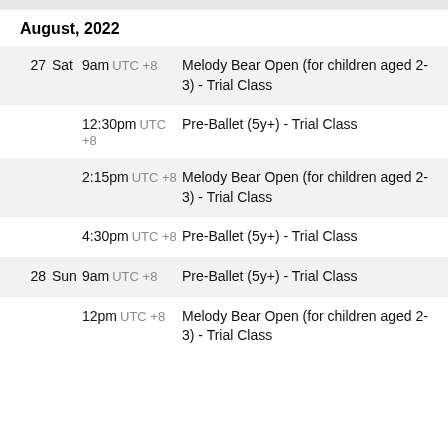August, 2022
27 Sat 9am UTC +8 Melody Bear Open (for children aged 2-3) - Trial Class
12:30pm UTC +8 Pre-Ballet (5y+) - Trial Class
2:15pm UTC +8 Melody Bear Open (for children aged 2-3) - Trial Class
4:30pm UTC +8 Pre-Ballet (5y+) - Trial Class
28 Sun 9am UTC +8 Pre-Ballet (5y+) - Trial Class
12pm UTC +8 Melody Bear Open (for children aged 2-3) - Trial Class